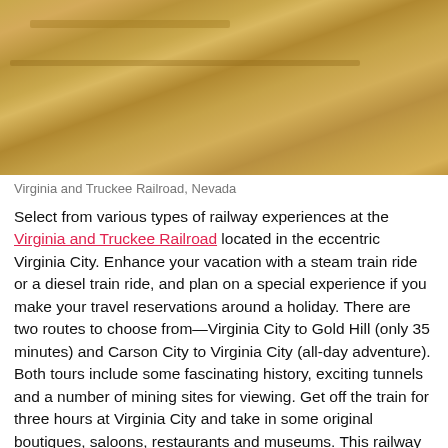[Figure (photo): Photograph of sandy/rocky terrain at Virginia and Truckee Railroad, Nevada — warm tan and golden sandy surface texture]
Virginia and Truckee Railroad, Nevada
Select from various types of railway experiences at the Virginia and Truckee Railroad located in the eccentric Virginia City. Enhance your vacation with a steam train ride or a diesel train ride, and plan on a special experience if you make your travel reservations around a holiday. There are two routes to choose from—Virginia City to Gold Hill (only 35 minutes) and Carson City to Virginia City (all-day adventure). Both tours include some fascinating history, exciting tunnels and a number of mining sites for viewing. Get off the train for three hours at Virginia City and take in some original boutiques, saloons, restaurants and museums. This railway experience has something for everyone.
Donner Summit Train Tunnels